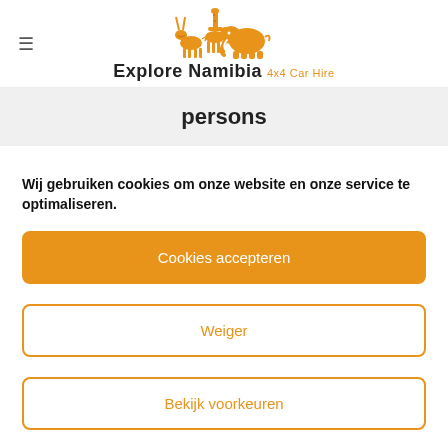≡ Explore Namibia 4x4 Car Hire
persons
Wij gebruiken cookies om onze website en onze service te optimaliseren.
Cookies accepteren
Weiger
Bekijk voorkeuren
Cookiebeleid  Privacyverklaring